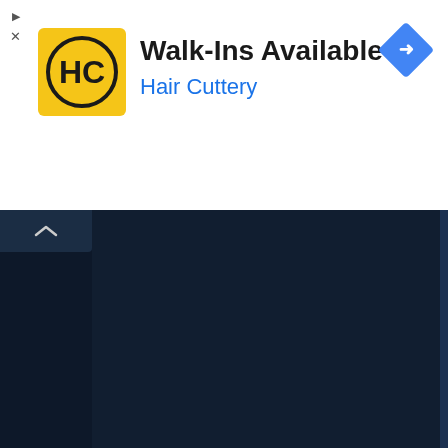[Figure (screenshot): Advertisement banner for Hair Cuttery showing Walk-Ins Available text with logo and navigation arrow icon]
[Figure (screenshot): Dark-themed blog comment section showing replies from Unknown and Chas Dems with orange avatar icons and reply links]